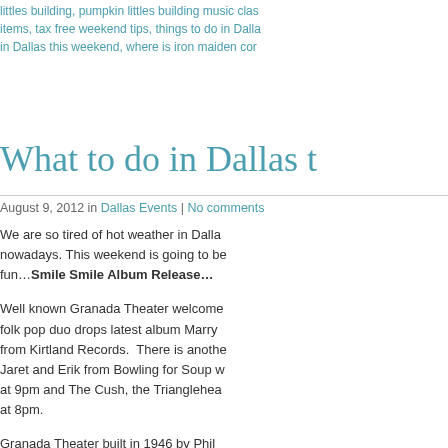littles building, pumpkin littles building music clas items, tax free weekend tips, things to do in Dalla in Dallas this weekend, where is iron maiden cor
What to do in Dallas t
August 9, 2012 in Dallas Events | No comments
We are so tired of hot weather in Dalla nowadays. This weekend is going to be fun…Smile Smile Album Release…
Well known Granada Theater welcome folk pop duo drops latest album Marry from Kirtland Records. There is anothe Jaret and Erik from Bowling for Soup w at 9pm and The Cush, the Trianglehea at 8pm.
Granada Theater built in 1946 by Phil opened during the Golden Age of Holly 700 seated Movie Theater. Lovely thea many well-known classic Hollywood fil Marlon Brando to Audrey Hepburn. The Theater is a great example of Art Deco classic style of those years. Over the y